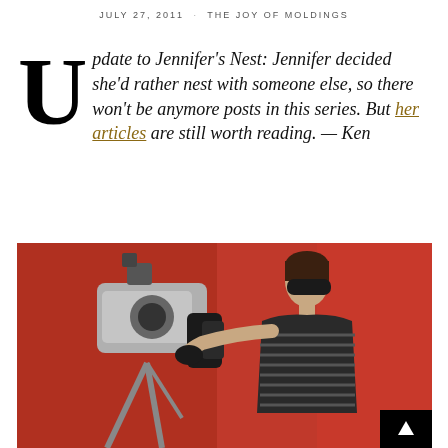JULY 27, 2011 · THE JOY OF MOLDINGS
Update to Jennifer's Nest: Jennifer decided she'd rather nest with someone else, so there won't be anymore posts in this series. But her articles are still worth reading. — Ken
[Figure (photo): Woman in sunglasses and striped tank top holding a nail gun against a red background]